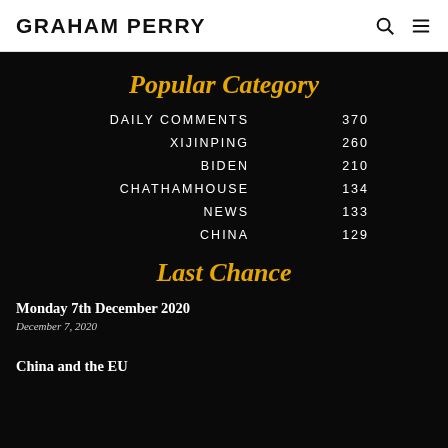GRAHAM PERRY
Popular Category
DAILY COMMENTS  370
XIJINPING  260
BIDEN  210
CHATHAMHOUSE  134
NEWS  133
CHINA  129
Last Chance
Monday 7th December 2020
December 7, 2020
China and the EU